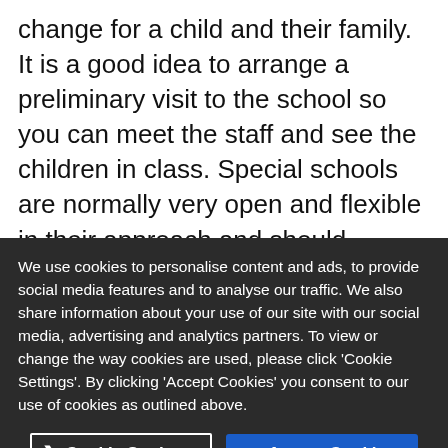change for a child and their family. It is a good idea to arrange a preliminary visit to the school so you can meet the staff and see the children in class. Special schools are normally very open and flexible in their approach and should welcome visits.
Children will be grouped according to age and type of special need, but remember that each
We use cookies to personalise content and ads, to provide social media features and to analyse our traffic. We also share information about your use of our site with our social media, advertising and analytics partners. To view or change the way cookies are used, please click 'Cookie Settings'. By clicking 'Accept Cookies' you consent to our use of cookies as outlined above.